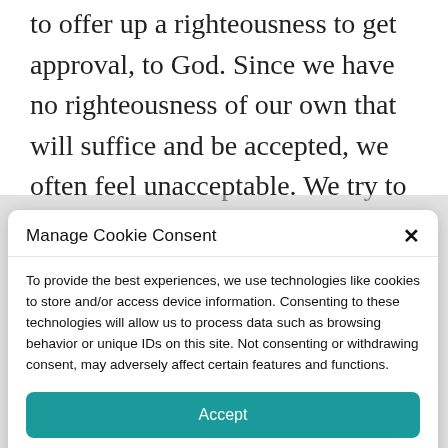to offer up a righteousness to get approval, to God. Since we have no righteousness of our own that will suffice and be accepted, we often feel unacceptable. We try to conjure up our own righteousness because our pride
Manage Cookie Consent
To provide the best experiences, we use technologies like cookies to store and/or access device information. Consenting to these technologies will allow us to process data such as browsing behavior or unique IDs on this site. Not consenting or withdrawing consent, may adversely affect certain features and functions.
Accept
Opt-out preferences